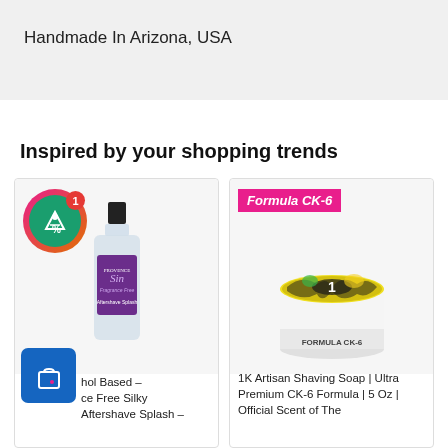Handmade In Arizona, USA
Inspired by your shopping trends
[Figure (photo): Product card 1: Aftershave splash bottle with coupon badge showing '1' and a shopping bag icon. Product title text: 'hol Based – ce Free Silky Aftershave Splash –']
[Figure (photo): Product card 2: Formula CK-6 badge (pink/magenta) at top, circular shaving soap tin with colorful label showing '1'. Product title: '1K Artisan Shaving Soap | Ultra Premium CK-6 Formula | 5 Oz | Official Scent of The']